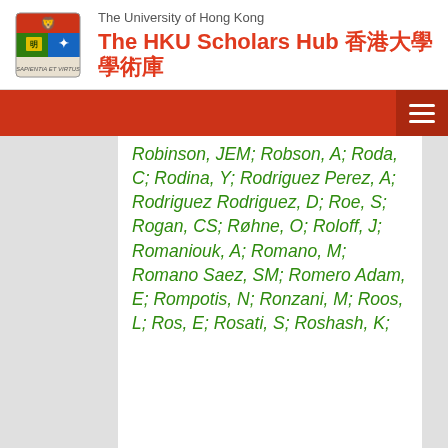The University of Hong Kong — The HKU Scholars Hub 香港大學學術庫
Robinson, JEM; Robson, A; Roda, C; Rodina, Y; Rodriguez Perez, A; Rodriguez Rodriguez, D; Roe, S; Rogan, CS; Røhne, O; Roloff, J; Romaniouk, A; Romano, M; Romano Saez, SM; Romero Adam, E; Rompotis, N; Ronzani, M; Roos, L; Ros, E; Rosati, S; Roshash, K;